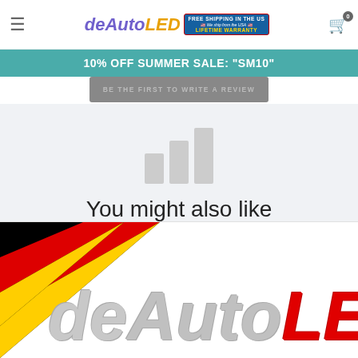deAutoLED — FREE SHIPPING IN THE US · We ship from the USA · LIFETIME WARRANTY | Cart: 0
10% OFF SUMMER SALE: "SM10"
BE THE FIRST TO WRITE A REVIEW
You might also like
[Figure (logo): deAutoLED company logo with German flag corner and large italic text reading deAutoLED]